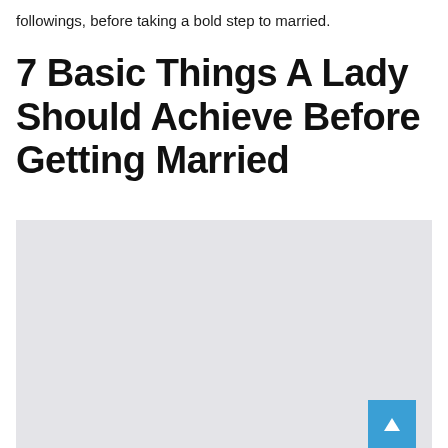followings, before taking a bold step to married.
7 Basic Things A Lady Should Achieve Before Getting Married
[Figure (photo): Light grey rectangular placeholder image area]